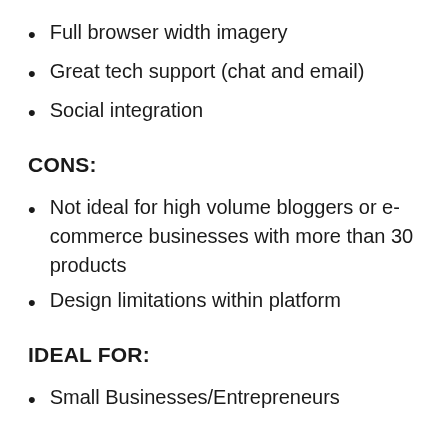Full browser width imagery
Great tech support (chat and email)
Social integration
CONS:
Not ideal for high volume bloggers or e-commerce businesses with more than 30 products
Design limitations within platform
IDEAL FOR:
Small Businesses/Entrepreneurs